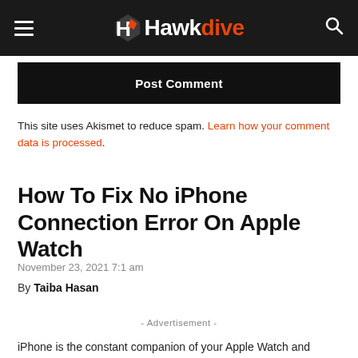Hawkdive
Post Comment
This site uses Akismet to reduce spam. Learn how your comment data is processed.
How To Fix No iPhone Connection Error On Apple Watch
November 23, 2021 7:1 am
By Taiba Hasan
- Advertisement -
iPhone is the constant companion of your Apple Watch and